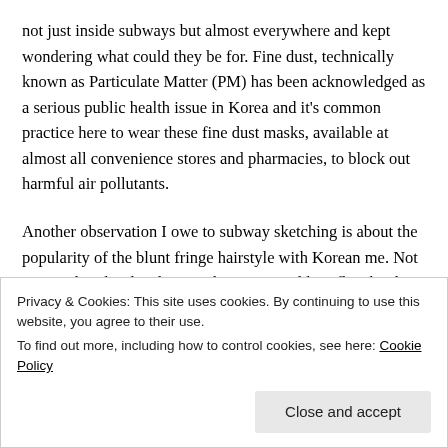not just inside subways but almost everywhere and kept wondering what could they be for. Fine dust, technically known as Particulate Matter (PM) has been acknowledged as a serious public health issue in Korea and it's common practice here to wear these fine dust masks, available at almost all convenience stores and pharmacies, to block out harmful air pollutants.
Another observation I owe to subway sketching is about the popularity of the blunt fringe hairstyle with Korean me. Not captured in the sketches are the occasional hair flips by the said men to adjust the fringe followed by casual finger-
Privacy & Cookies: This site uses cookies. By continuing to use this website, you agree to their use.
To find out more, including how to control cookies, see here: Cookie Policy